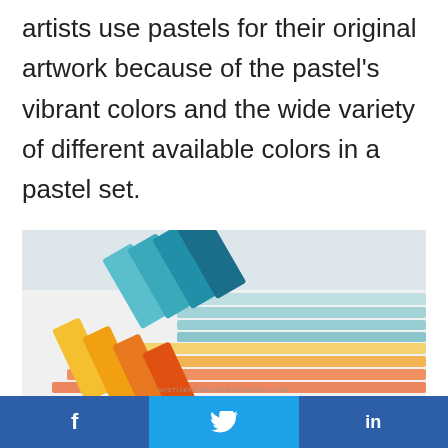artists use pastels for their original artwork because of the pastel's vibrant colors and the wide variety of different available colors in a pastel set.
[Figure (photo): Photograph of colorful pastel sticks (teal/blue shades and yellow/orange shades) arranged on a white surface, with colored streaks drawn from them. Watermark reads MISTIJEFFINEARTMARKETING.COM]
f  | twitter bird icon | in